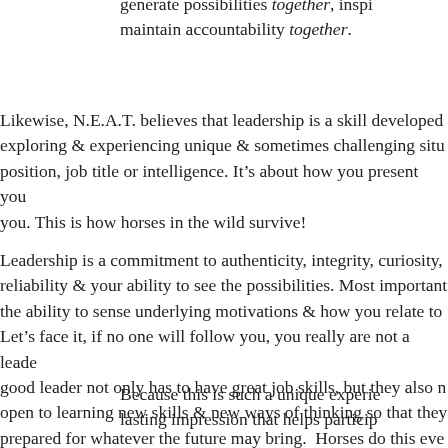generate possibilities together, inspi maintain accountability together.
Likewise, N.E.A.T. believes that leadership is a skill developed exploring & experiencing unique & sometimes challenging situ position, job title or intelligence. It's about how you present you you. This is how horses in the wild survive!
Leadership is a commitment to authenticity, integrity, curiosity, reliability & your ability to see the possibilities. Most important the ability to sense underlying motivations & how you relate to Let's face it, if no one will follow you, you really are not a leade good leader not only has to have great job skills, but they also n open to learning new skills & new ways of thinking so that they prepared for whatever the future may bring. Horses do this ever the wild.
Because this is such a unique experie lasting impression that helps particip